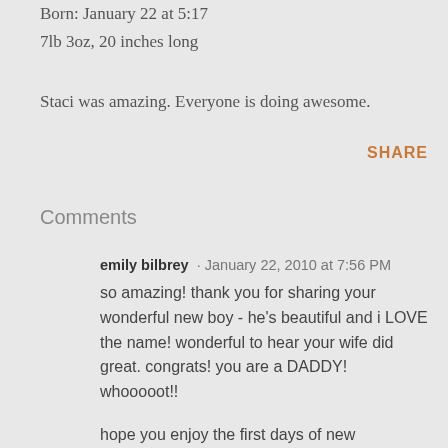Born: January 22 at 5:17
7lb 3oz, 20 inches long
Staci was amazing. Everyone is doing awesome.
SHARE
Comments
emily bilbrey · January 22, 2010 at 7:56 PM
so amazing! thank you for sharing your wonderful new boy - he's beautiful and i LOVE the name! wonderful to hear your wife did great. congrats! you are a DADDY! whooooot!!
hope you enjoy the first days of new parenthood. i highly recommend taking a close up photo of...